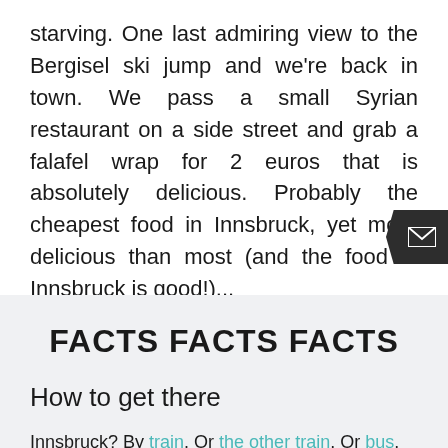starving. One last admiring view to the Bergisel ski jump and we're back in town. We pass a small Syrian restaurant on a side street and grab a falafel wrap for 2 euros that is absolutely delicious. Probably the cheapest food in Innsbruck, yet more delicious than most (and the food in Innsbruck is good!)...
FACTS FACTS FACTS
How to get there
Innsbruck? By train. Or the other train. Or bus. Maybe